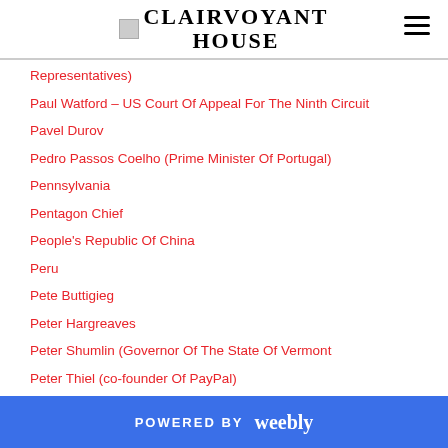CLAIRVOYANT HOUSE
Representatives)
Paul Watford – US Court Of Appeal For The Ninth Circuit
Pavel Durov
Pedro Passos Coelho (Prime Minister Of Portugal)
Pennsylvania
Pentagon Chief
People's Republic Of China
Peru
Pete Buttigieg
Peter Hargreaves
Peter Shumlin (Governor Of The State Of Vermont
Peter Thiel (co-founder Of PayPal)
Peter Thiel (President Thiel Capital)
Petroequador - State Owned Oil Company Of Equador
Petro Poroshenko
POWERED BY weebly